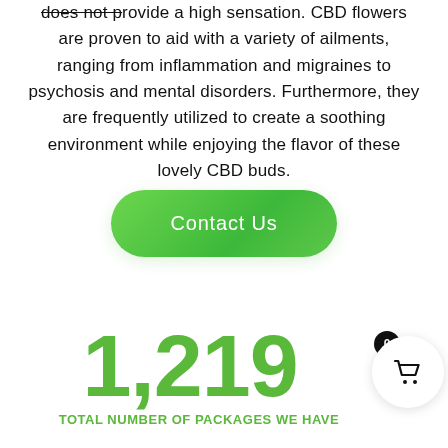does not provide a high sensation. CBD flowers are proven to aid with a variety of ailments, ranging from inflammation and migraines to psychosis and mental disorders. Furthermore, they are frequently utilized to create a soothing environment while enjoying the flavor of these lovely CBD buds.
[Figure (other): Green rounded rectangle button with text 'Contact Us']
1,219
TOTAL NUMBER OF PACKAGES WE HAVE
[Figure (other): Shopping cart icon in white circle with black badge showing 0]